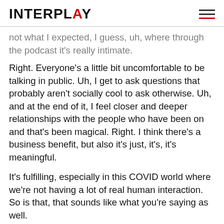INTERPLAY
not what I expected, I guess, uh, where through the podcast it's really intimate.
Right. Everyone's a little bit uncomfortable to be talking in public. Uh, I get to ask questions that probably aren't socially cool to ask otherwise. Uh, and at the end of it, I feel closer and deeper relationships with the people who have been on and that's been magical. Right. I think there's a business benefit, but also it's just, it's, it's meaningful.
It's fulfilling, especially in this COVID world where we're not having a lot of real human interaction. So is that, that sounds like what you're saying as well.